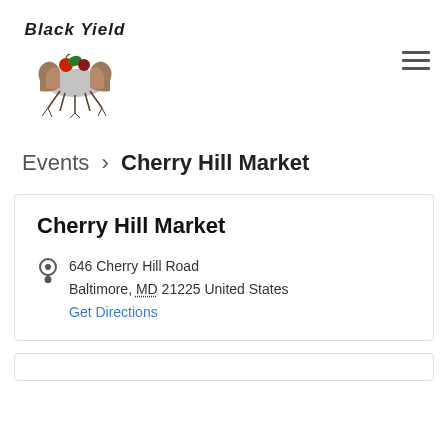[Figure (logo): Black Yield logo: stylized handwritten text 'Black Yield' above two cupped hands holding colorful fruits/vegetables with roots below]
Events › Cherry Hill Market
Cherry Hill Market
646 Cherry Hill Road
Baltimore, MD 21225 United States
Get Directions